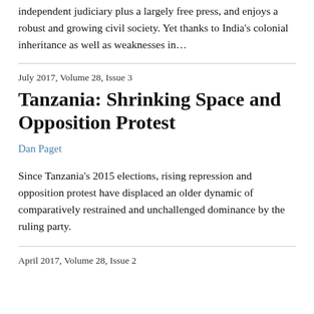independent judiciary plus a largely free press, and enjoys a robust and growing civil society. Yet thanks to India's colonial inheritance as well as weaknesses in…
July 2017, Volume 28, Issue 3
Tanzania: Shrinking Space and Opposition Protest
Dan Paget
Since Tanzania's 2015 elections, rising repression and opposition protest have displaced an older dynamic of comparatively restrained and unchallenged dominance by the ruling party.
April 2017, Volume 28, Issue 2